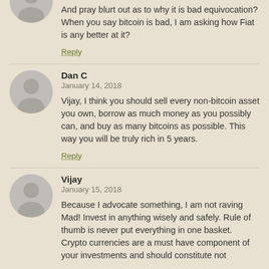And pray blurt out as to why it is bad equivocation? When you say bitcoin is bad, I am asking how Fiat is any better at it?
Reply
Dan C
January 14, 2018
Vijay, I think you should sell every non-bitcoin asset you own, borrow as much money as you possibly can, and buy as many bitcoins as possible. This way you will be truly rich in 5 years.
Reply
Vijay
January 15, 2018
Because I advocate something, I am not raving Mad! Invest in anything wisely and safely. Rule of thumb is never put everything in one basket. Crypto currencies are a must have component of your investments and should constitute not